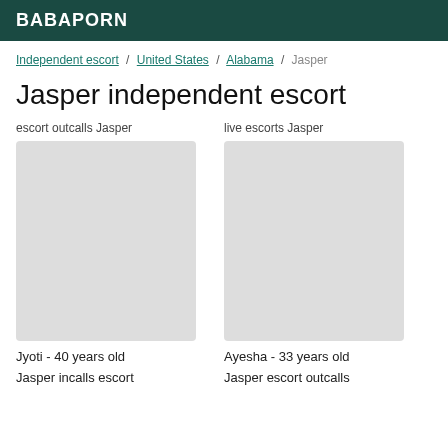BABAPORN
Independent escort / United States / Alabama / Jasper
Jasper independent escort
escort outcalls Jasper
live escorts Jasper
Jyoti - 40 years old
Ayesha - 33 years old
Jasper incalls escort
Jasper escort outcalls